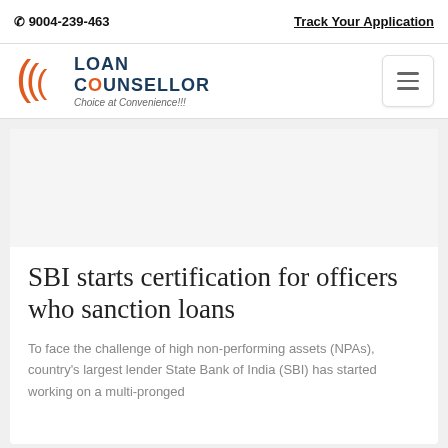📞 9004-239-463    Track Your Application
[Figure (logo): Loan Counsellor logo with orange wave brackets and teal text, tagline: Choice at Convenience!!!]
SBI starts certification for officers who sanction loans
To face the challenge of high non-performing assets (NPAs), country's largest lender State Bank of India (SBI) has started working on a multi-pronged